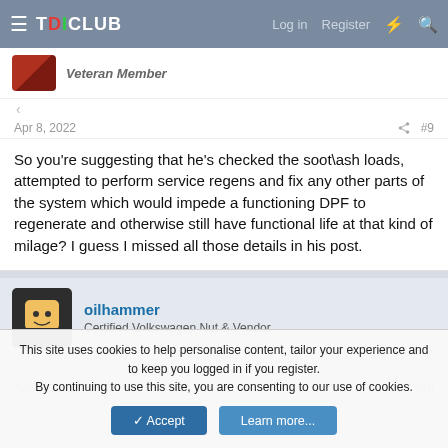TDICLUB — Log in  Register
Veteran Member
Apr 8, 2022  #9
So you're suggesting that he's checked the soot\ash loads, attempted to perform service regens and fix any other parts of the system which would impede a functioning DPF to regenerate and otherwise still have functional life at that kind of milage? I guess I missed all those details in his post.
oilhammer
Certified Volkswagen Nut & Vendor
Apr 8, 2022  #10
This site uses cookies to help personalise content, tailor your experience and to keep you logged in if you register.
By continuing to use this site, you are consenting to our use of cookies.